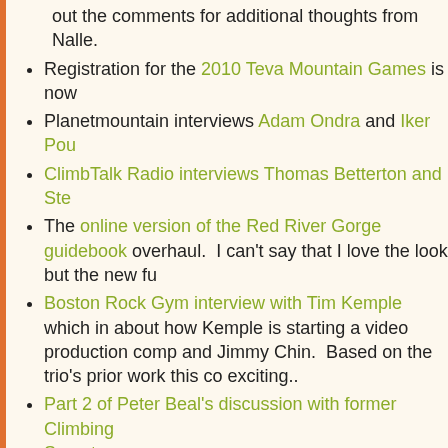out the comments for additional thoughts from Nalle.
Registration for the 2010 Teva Mountain Games is now
Planetmountain interviews Adam Ondra and Iker Pou
ClimbTalk Radio interviews Thomas Betterton and Ste
The online version of the Red River Gorge guidebook overhaul. I can't say that I love the look but the new fu
Boston Rock Gym interview with Tim Kemple which in about how Kemple is starting a video production comp and Jimmy Chin. Based on the trio's prior work this co exciting..
Part 2 of Peter Beal's discussion with former Climbing Samet
Writing on the Five Ten Blog, Ethan Pringle goes back he received his first shoe sponshorship
A reminder for those in the southeast: the HP40 Rock Saturday.
Rib Mountain, a small bouldering area in northern WI,
Update on the forthcoming guidebook to RMNP and M
Touchstone climbing catches up with Alex Honnold: